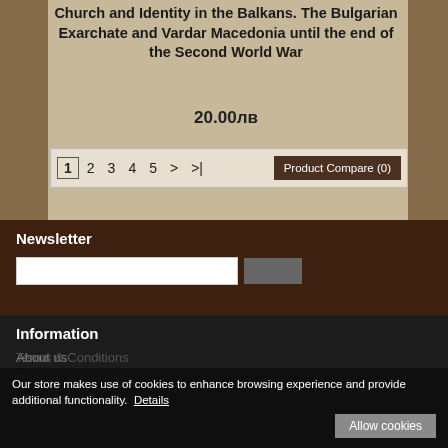Church and Identity in the Balkans. The Bulgarian Exarchate and Vardar Macedonia until the end of the Second World War
20.00лв
1 2 3 4 5 > >|    Product Compare (0)
Newsletter
Information
About us
Delivery information
Privacy policy
Terms & Conditions
Our store makes use of cookies to enhance browsing experience and provide additional functionality. Details